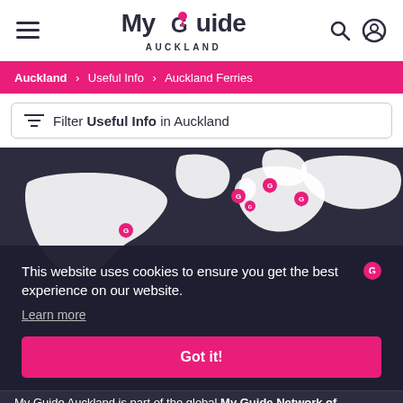MyGuide Auckland — hamburger menu, search, account icons
Auckland > Useful Info > Auckland Ferries
Filter Useful Info in Auckland
[Figure (map): World map with pink location pin markers on a dark navy background, showing various My Guide Network locations]
This website uses cookies to ensure you get the best experience on our website. Learn more
Got it!
My Guide Auckland is part of the global My Guide Network of